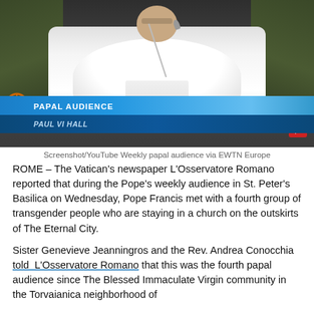[Figure (screenshot): Screenshot of a video showing a person in white papal robes speaking at a microphone, with a lower-third graphic overlay reading 'PAPAL AUDIENCE / PAUL VI HALL' in blue and dark blue bars.]
Screenshot/YouTube Weekly papal audience via EWTN Europe
ROME – The Vatican's newspaper L'Osservatore Romano reported that during the Pope's weekly audience in St. Peter's Basilica on Wednesday, Pope Francis met with a fourth group of transgender people who are staying in a church on the outskirts of The Eternal City.
Sister Genevieve Jeanningros and the Rev. Andrea Conocchia told  L'Osservatore Romano that this was the fourth papal audience since The Blessed Immaculate Virgin community in the Torvaianica neighborhood of